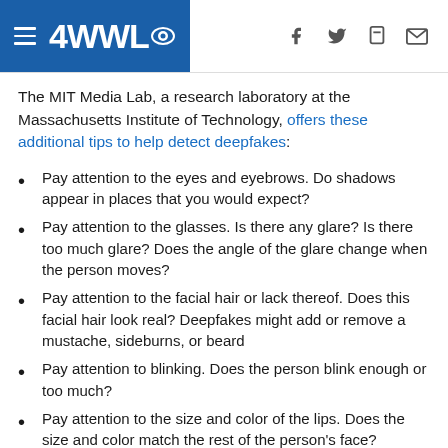4WWL
The MIT Media Lab, a research laboratory at the Massachusetts Institute of Technology, offers these additional tips to help detect deepfakes:
Pay attention to the eyes and eyebrows. Do shadows appear in places that you would expect?
Pay attention to the glasses. Is there any glare? Is there too much glare? Does the angle of the glare change when the person moves?
Pay attention to the facial hair or lack thereof. Does this facial hair look real? Deepfakes might add or remove a mustache, sideburns, or beard
Pay attention to blinking. Does the person blink enough or too much?
Pay attention to the size and color of the lips. Does the size and color match the rest of the person's face?